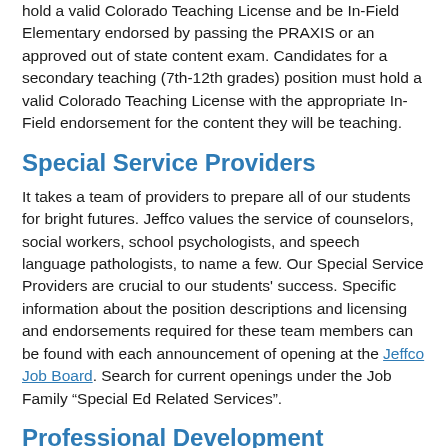hold a valid Colorado Teaching License and be In-Field Elementary endorsed by passing the PRAXIS or an approved out of state content exam. Candidates for a secondary teaching (7th-12th grades) position must hold a valid Colorado Teaching License with the appropriate In-Field endorsement for the content they will be teaching.
Special Service Providers
It takes a team of providers to prepare all of our students for bright futures. Jeffco values the service of counselors, social workers, school psychologists, and speech language pathologists, to name a few. Our Special Service Providers are crucial to our students' success. Specific information about the position descriptions and licensing and endorsements required for these team members can be found with each announcement of opening at the Jeffco Job Board. Search for current openings under the Job Family “Special Ed Related Services”.
Professional Development
Jeffco Public Schools provides significant support for our teachers. From kindergarten through twelfth